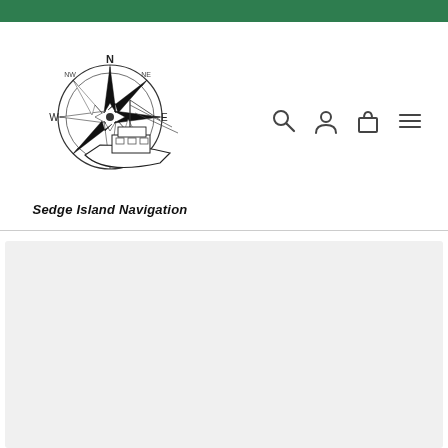[Figure (logo): Sedge Island Navigation logo featuring a compass rose with N/NE/E/W cardinal directions and a fishing boat overlaid, with text 'Sedge Island Navigation' below in bold italic.]
[Figure (infographic): Navigation icons: search (magnifying glass), user account (person silhouette), shopping bag/cart, and hamburger menu (three horizontal lines).]
[Figure (other): Gray content/hero area placeholder below the navigation header.]